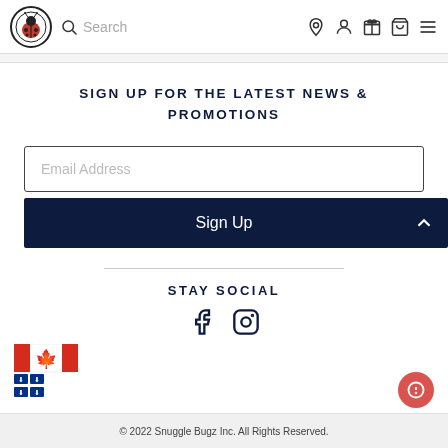[Figure (screenshot): Website navigation bar with ladybug logo, search bar, and icons for location, user, gift, bag, and menu]
SIGN UP FOR THE LATEST NEWS & PROMOTIONS
Email Address
Sign Up
STAY SOCIAL
[Figure (logo): Facebook and Instagram social media icons]
[Figure (logo): Canadian flag with maple leaf and provincial shields]
© 2022 Snuggle Bugz Inc. All Rights Reserved.